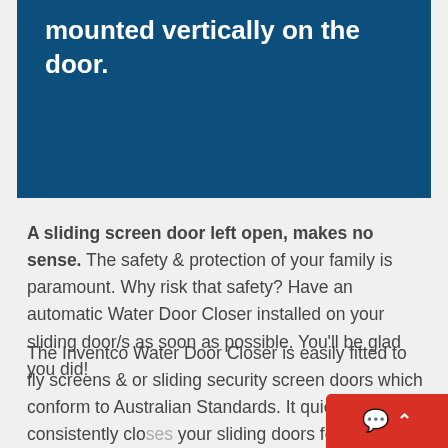mounted vertically on the door.
A sliding screen door left open, makes no sense. The safety & protection of your family is paramount. Why risk that safety? Have an automatic Water Door Closer installed on your sliding door/s as soon as possible. You'll be glad you did!
The Inventco Water Door Closer is easily fitted to fly screens & or sliding security screen doors which conform to Australian Standards. It quietly and consistently clo… your sliding doors for you, year in and ye… out (of course a smooth glide is dependent…